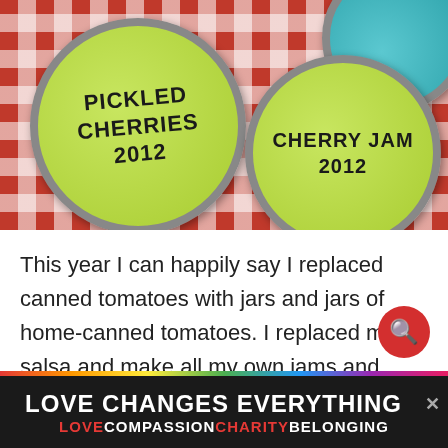[Figure (photo): Overhead photo of mason jar lids on red and white checkered tablecloth. Left lid is green with 'PICKLED CHERRIES 2012' written on it; right lid is green with 'CHERRY JAM 2012'; partial teal/blue lid visible in top right corner.]
This year I can happily say I replaced canned tomatoes with jars and jars of home-canned tomatoes. I replaced my salsa and make all my own jams and chutneys, I froze hoards summer berries and pie filling, made DIY
[Figure (other): Advertisement banner: 'LOVE CHANGES EVERYTHING' in white bold text on dark background with rainbow color strip. Second line reads LOVE (red) COMPASSION (white) CHARITY (red) BELONGING (white).]